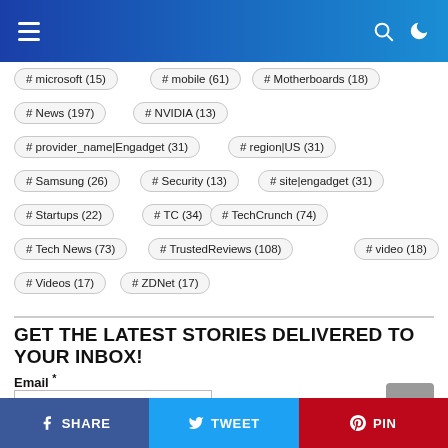Navigation header with hamburger menu, search icon, and dark mode toggle
# microsoft (15)
# mobile (61)
# Motherboards (18)
# News (197)
# NVIDIA (13)
# provider_name|Engadget (31)
# region|US (31)
# Samsung (26)
# Security (13)
# site|engadget (31)
# Startups (22)
# TC (34)
# TechCrunch (74)
# Tech News (73)
# TrustedReviews (108)
# video (18)
# Videos (17)
# ZDNet (17)
GET THE LATEST STORIES DELIVERED TO YOUR INBOX!
Email *
SHARE   TWEET   PIN